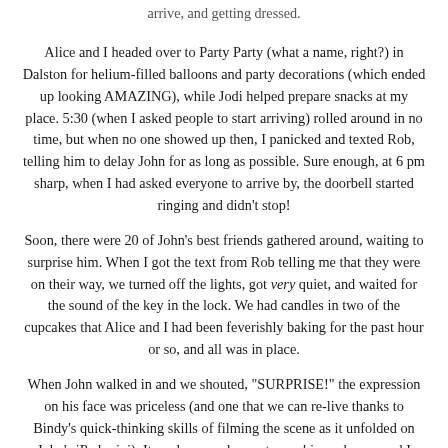arrive, and getting dressed.
Alice and I headed over to Party Party (what a name, right?) in Dalston for helium-filled balloons and party decorations (which ended up looking AMAZING), while Jodi helped prepare snacks at my place. 5:30 (when I asked people to start arriving) rolled around in no time, but when no one showed up then, I panicked and texted Rob, telling him to delay John for as long as possible. Sure enough, at 6 pm sharp, when I had asked everyone to arrive by, the doorbell started ringing and didn't stop!
Soon, there were 20 of John's best friends gathered around, waiting to surprise him. When I got the text from Rob telling me that they were on their way, we turned off the lights, got very quiet, and waited for the sound of the key in the lock. We had candles in two of the cupcakes that Alice and I had been feverishly baking for the past hour or so, and all was in place.
When John walked in and we shouted, "SURPRISE!" the expression on his face was priceless (and one that we can re-live thanks to Bindy's quick-thinking skills of filming the scene as it unfolded on John's iPad mini). It made me so happy to see him so happy and I knew the weeks of my secretive planning had led to a success.
For the rest of the night, we caught-up with each other, ate these ...